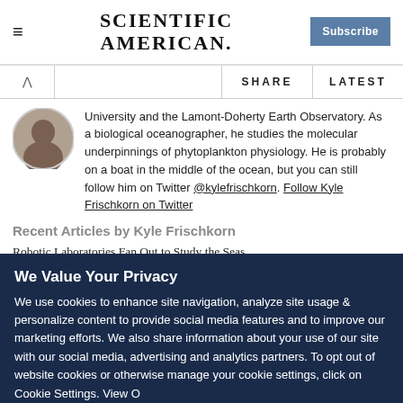Scientific American — Subscribe
University and the Lamont-Doherty Earth Observatory. As a biological oceanographer, he studies the molecular underpinnings of phytoplankton physiology. He is probably on a boat in the middle of the ocean, but you can still follow him on Twitter @kylefrischkorn. Follow Kyle Frischkorn on Twitter
Recent Articles by Kyle Frischkorn
Robotic Laboratories Fan Out to Study the Seas
"You Are Welcome Here": Small Stickers Make a Big...
We Value Your Privacy
We use cookies to enhance site navigation, analyze site usage & personalize content to provide social media features and to improve our marketing efforts. We also share information about your use of our site with our social media, advertising and analytics partners. To opt out of website cookies or otherwise manage your cookie settings, click on Cookie Settings. View O...